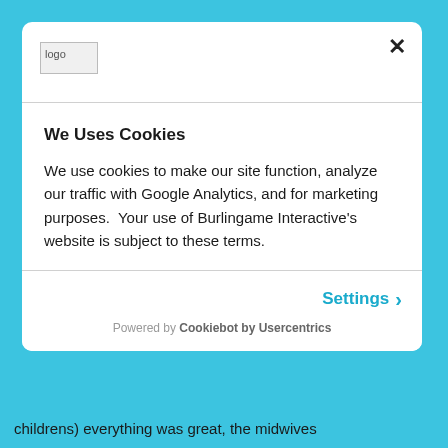[Figure (logo): Logo placeholder image in modal header]
We Uses Cookies
We use cookies to make our site function, analyze our traffic with Google Analytics, and for marketing purposes.  Your use of Burlingame Interactive's website is subject to these terms.
Settings ›
Powered by Cookiebot by Usercentrics
childrens) everything was great, the midwives